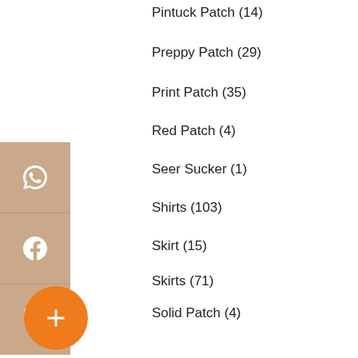Pintuck Patch (14)
Preppy Patch (29)
Print Patch (35)
Red Patch (4)
Seer Sucker (1)
Shirts (103)
Skirt (15)
Skirts (71)
Solid Patch (4)
Tie (1)
Top (15)
Tops (86)
Yellow Patch (6)
Pintuck (3)
Shantung Silk (45)